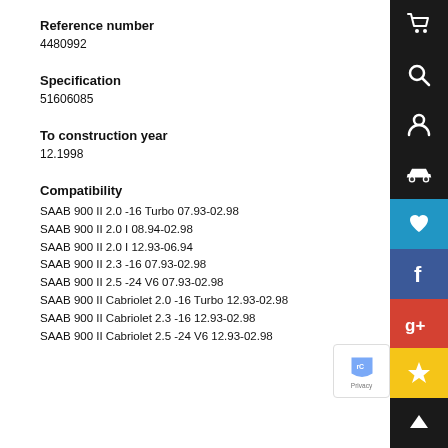Reference number
4480992
Specification
51606085
To construction year
12.1998
Compatibility
SAAB 900 II 2.0 -16 Turbo 07.93-02.98
SAAB 900 II 2.0 I 08.94-02.98
SAAB 900 II 2.0 I 12.93-06.94
SAAB 900 II 2.3 -16 07.93-02.98
SAAB 900 II 2.5 -24 V6 07.93-02.98
SAAB 900 II Cabriolet 2.0 -16 Turbo 12.93-02.98
SAAB 900 II Cabriolet 2.3 -16 12.93-02.98
SAAB 900 II Cabriolet 2.5 -24 V6 12.93-02.98